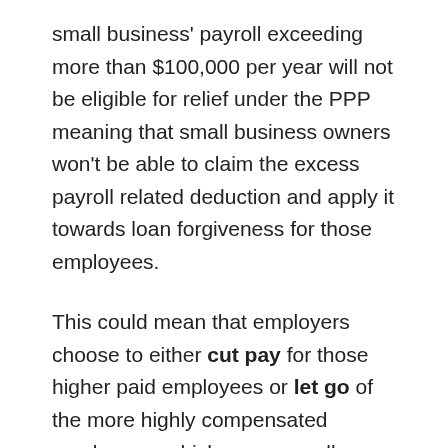small business' payroll exceeding more than $100,000 per year will not be eligible for relief under the PPP meaning that small business owners won't be able to claim the excess payroll related deduction and apply it towards loan forgiveness for those employees.
This could mean that employers choose to either cut pay for those higher paid employees or let go of the more highly compensated employees, which are generally management positions at small business.
Many who read this will complain that if someone is earning over $100,000 per year then